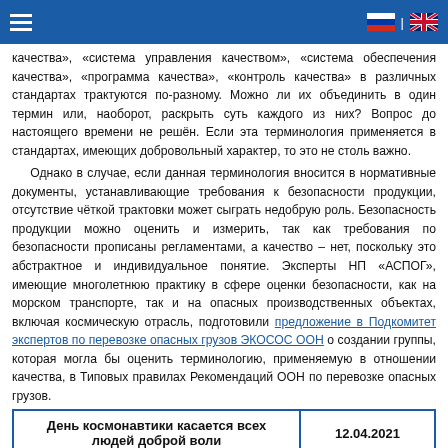Navigation header with hamburger menu and language flags (Russian, English)
качества», «система управления качеством», «система обеспечения качества», «программа качества», «контроль качества» в различных стандартах трактуются по-разному. Можно ли их объединить в один термин или, наоборот, раскрыть суть каждого из них? Вопрос до настоящего времени не решён. Если эта терминология применяется в стандартах, имеющих добровольный характер, то это не столь важно.
Однако в случае, если данная терминология вносится в нормативные документы, устанавливающие требования к безопасности продукции, отсутствие чёткой трактовки может сыграть недобрую роль. Безопасность продукции можно оценить и измерить, так как требования по безопасности прописаны регламентами, а качество – нет, поскольку это абстрактное и индивидуальное понятие. Эксперты НП «АСПОГ», имеющие многолетнюю практику в сфере оценки безопасности, как на морском транспорте, так и на опасных производственных объектах, включая космическую отрасль, подготовили предложение в Подкомитет экспертов по перевозке опасных грузов ЭКОСОС ООН о создании группы, которая могла бы оценить терминологию, применяемую в отношении качества, в Типовых правилах Рекомендаций ООН по перевозке опасных грузов.
| День космонавтики касается всех людей доброй воли | 12.04.2021 |
| --- | --- |
Ровно 60 лет назад Гагаринское «Поехали!» возвестило мир о начале эры – эры полетов человека в космическое пространство. Именно тогда, 12 апреля года, стало сбываться пророчество К.Э